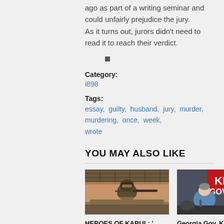ago as part of a writing seminar and could unfairly prejudice the jury.
As it turns out, jurors didn't need to read it to reach their verdict.
■
Category:
i898
Tags:
essay, guilty, husband, jury, murder, murdering, once, week, wrote
YOU MAY ALSO LIKE
[Figure (photo): Soldier in military gear and goggles in a vehicle, desert/outdoor setting]
HEROES OF KABUL: '…
[Figure (photo): Georgia Gov. Kemp at a campaign event with KEMP GOVE signage visible]
Georgia Gov. Kemp w…